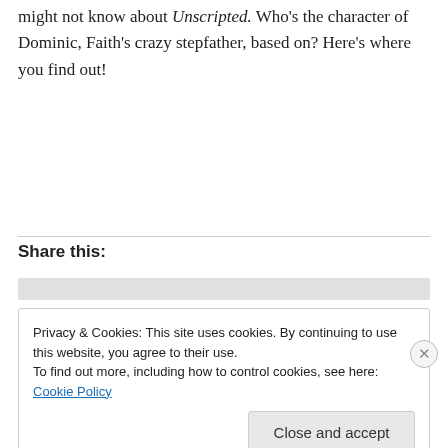might not know about Unscripted. Who's the character of Dominic, Faith's crazy stepfather, based on? Here's where you find out!
Share this:
Privacy & Cookies: This site uses cookies. By continuing to use this website, you agree to their use.
To find out more, including how to control cookies, see here: Cookie Policy